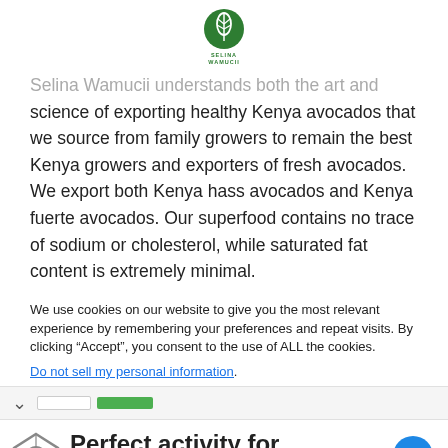SELINA WAMUCII
Selina Wamucii understands both the art and science of exporting healthy Kenya avocados that we source from family growers to remain the best Kenya growers and exporters of fresh avocados. We export both Kenya hass avocados and Kenya fuerte avocados. Our superfood contains no trace of sodium or cholesterol, while saturated fat content is extremely minimal.
We use cookies on our website to give you the most relevant experience by remembering your preferences and repeat visits. By clicking “Accept”, you consent to the use of ALL the cookies.
Do not sell my personal information.
Perfect activity for everyone